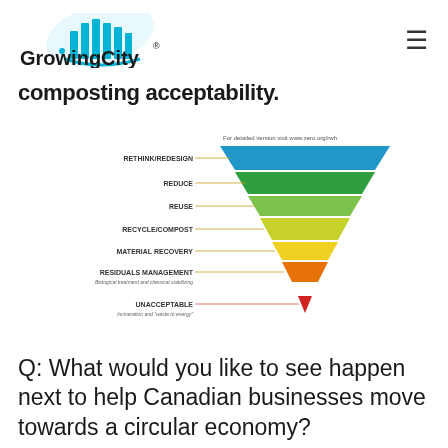[Figure (logo): GrowingCity logo with cyan/blue stylized city skyline graphic above the text 'GrowingCity' with registered trademark symbol]
composting acceptability.
[Figure (infographic): Inverted funnel/pyramid diagram showing waste hierarchy levels from top to bottom: RETHINK/REDESIGN (blue), REDUCE (green), REUSE (light green), RECYCLE/COMPOST (yellow-green), MATERIAL RECOVERY (yellow), RESIDUALS MANAGEMENT (orange, with subtitle 'Biological treatment and chemical stabilizing'), UNACCEPTABLE (red, with subtitle 'Incineration and waste to energy'). Labels appear to the left of each tier with connecting lines. Top note reads 'For detailed version visit www.zero.org/rwh']
Q: What would you like to see happen next to help Canadian businesses move towards a circular economy?